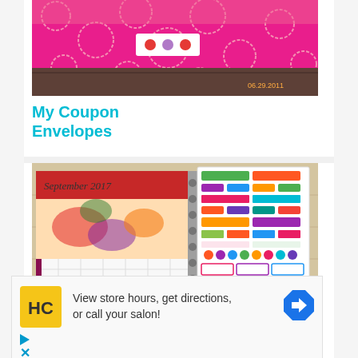[Figure (photo): Pink polka dot coupon envelope on a wooden surface, with a date stamp 06.29.2011]
My Coupon Envelopes
[Figure (photo): Planner open to September 2017 page with colorful sticker sheets laid on top]
Planner Sticker Haul
[Figure (other): Advertisement: HC logo in yellow square, text reading 'View store hours, get directions, or call your salon!' with a blue diamond arrow icon]